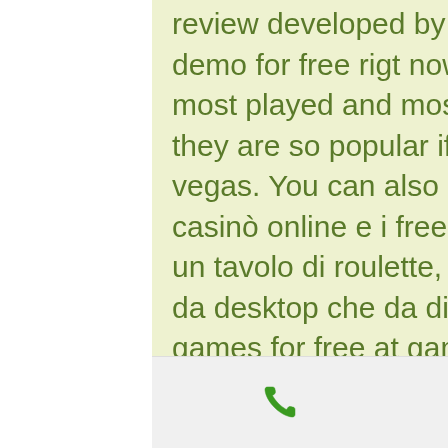review developed by reel kingdom or play this slot demo for free rigt now! just click the site! Find list of most played and most popular slots in vegas and why they are so popular if you are planning a trip to las vegas. You can also play vegas slots. Usa il bonus al casinò online e i free spin alle slot machine. Siediti ad un tavolo di roulette, blackjack, poker o baccarat, sia da desktop che da dispositivo. Play online casino games for free at gametwist! sign up and get ✓ 30000 free twists ✓ 15 book of ra free spins ✓ free daily bonus ❯❯ play for free now! Text a link to your mobile phone and play now! send! get it on google play. So after earning 100 slot points you get free play? While there are no big payouts for playing vegas slots online for free, there are some benefits. Players can test a new slot game before. Make sure to ask about the free
phone | facebook | email